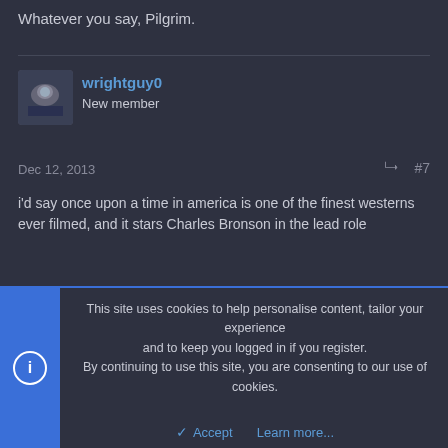Whatever you say, Pilgrim.
wrightguy0
New member
Dec 12, 2013  #7
i'd say once upon a time in america is one of the finest westerns ever filmed, and it stars Charles Bronson in the lead role
GundamSentinel
The leading man, who else?
This site uses cookies to help personalise content, tailor your experience and to keep you logged in if you register.
By continuing to use this site, you are consenting to our use of cookies.
Accept  Learn more...